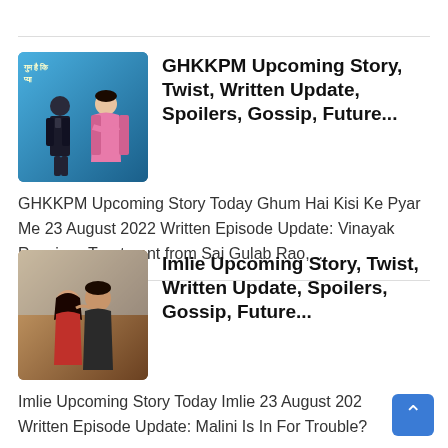[Figure (illustration): Thumbnail image for GHKKPM TV show with two characters on blue background with Hindi text]
GHKKPM Upcoming Story, Twist, Written Update, Spoilers, Gossip, Future...
GHKKPM Upcoming Story Today Ghum Hai Kisi Ke Pyar Me 23 August 2022 Written Episode Update: Vinayak Receives Treatment from Sai Gulab Rao, ...
[Figure (illustration): Thumbnail image for Imlie TV show with two characters in romantic pose on warm brown background]
Imlie Upcoming Story, Twist, Written Update, Spoilers, Gossip, Future...
Imlie Upcoming Story Today Imlie 23 August 2022 Written Episode Update: Malini Is In For Trouble?